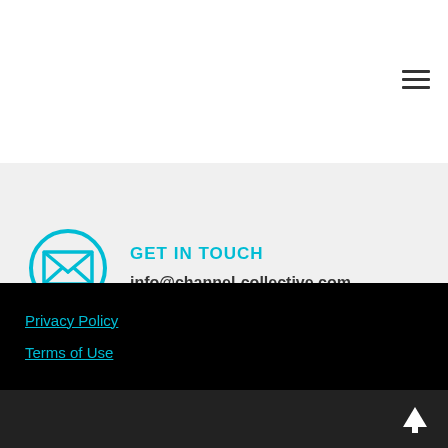[Figure (other): Hamburger menu icon (three horizontal lines) in top right corner]
[Figure (other): Cyan circular email/envelope icon with X pattern overlay]
GET IN TOUCH
info@channel-collective.com
Privacy Policy
Terms of Use
[Figure (other): White upward arrow button in bottom right corner]